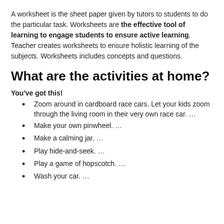A worksheet is the sheet paper given by tutors to students to do the particular task. Worksheets are the effective tool of learning to engage students to ensure active learning. Teacher creates worksheets to ensure holistic learning of the subjects. Worksheets includes concepts and questions.
What are the activities at home?
You've got this!
Zoom around in cardboard race cars. Let your kids zoom through the living room in their very own race car. …
Make your own pinwheel. …
Make a calming jar. …
Play hide-and-seek. …
Play a game of hopscotch. …
Wash your car. …